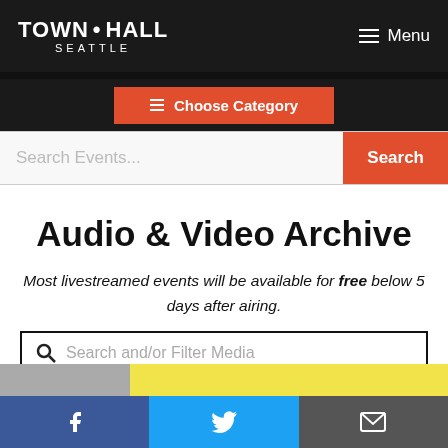[Figure (logo): Town Hall Seattle logo in white on dark header bar]
Menu
Choose Category
Search Events...
Audio & Video Archive
Most livestreamed events will be available for free below 5 days after airing.
Search and/or Filter Media